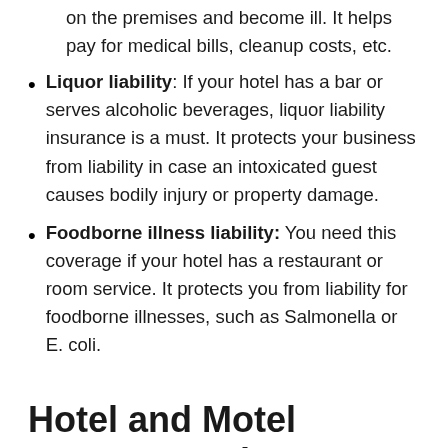on the premises and become ill. It helps pay for medical bills, cleanup costs, etc.
Liquor liability: If your hotel has a bar or serves alcoholic beverages, liquor liability insurance is a must. It protects your business from liability in case an intoxicated guest causes bodily injury or property damage.
Foodborne illness liability: You need this coverage if your hotel has a restaurant or room service. It protects you from liability for foodborne illnesses, such as Salmonella or E. coli.
Hotel and Motel Property and Asset